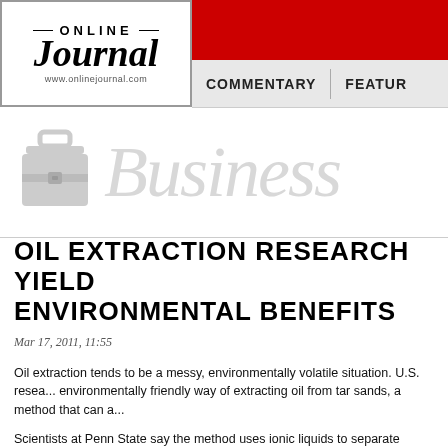[Figure (logo): Online Journal logo with italic serif font and URL www.onlinejournal.com]
COMMENTARY | FEATUR...
[Figure (illustration): Business section header with briefcase icon and large light gray italic 'Business' text]
OIL EXTRACTION RESEARCH YIELD... ENVIRONMENTAL BENEFITS
Mar 17, 2011, 11:55
Oil extraction tends to be a messy, environmentally volatile situation. U.S. resea... environmentally friendly way of extracting oil from tar sands, a method that can a...
Scientists at Penn State say the method uses ionic liquids to separate heavy, viscou... reported Wednesday.
To explore the phenomenon it was another method they discovered...